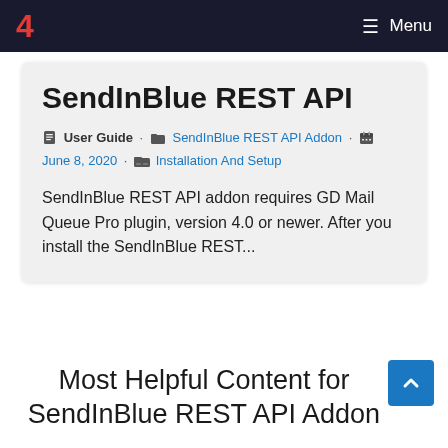4  ≡ Menu
SendInBlue REST API
User Guide · SendInBlue REST API Addon · June 8, 2020 · Installation And Setup
SendInBlue REST API addon requires GD Mail Queue Pro plugin, version 4.0 or newer. After you install the SendInBlue REST...
Most Helpful Content for SendInBlue REST API Addon